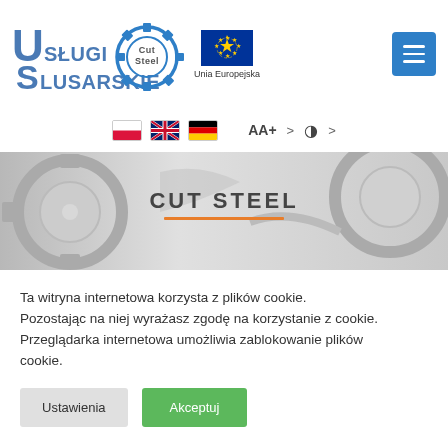[Figure (logo): Usługi Ślusarskie Cut Steel logo with gear icon and EU flag logo with text 'Unia Europejska']
[Figure (screenshot): Language selector bar with Polish, British, and German flags, AA+ text size control, and contrast toggle]
[Figure (photo): Hero banner showing CUT STEEL text over background photo of metal gear/blade parts cut from steel sheet with orange underline]
Ta witryna internetowa korzysta z plików cookie. Pozostając na niej wyrażasz zgodę na korzystanie z cookie. Przeglądarka internetowa umożliwia zablokowanie plików cookie.
Ustawienia
Akceptuj